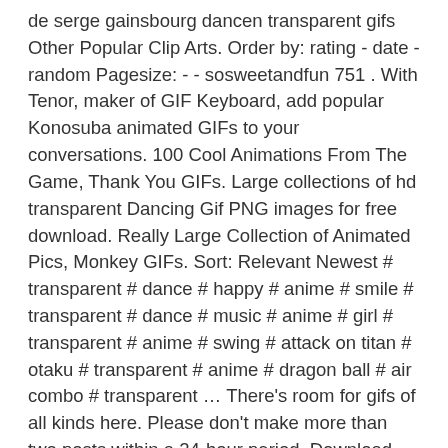de serge gainsbourg dancen transparent gifs Other Popular Clip Arts. Order by: rating - date - random Pagesize: - - sosweetandfun 751 . With Tenor, maker of GIF Keyboard, add popular Konosuba animated GIFs to your conversations. 100 Cool Animations From The Game, Thank You GIFs. Large collections of hd transparent Dancing Gif PNG images for free download. Really Large Collection of Animated Pics, Monkey GIFs. Sort: Relevant Newest # transparent # dance # happy # anime # smile # transparent # dance # music # anime # girl # transparent # anime # swing # attack on titan # otaku # transparent # anime # dragon ball # air combo # transparent … There's room for gifs of all kinds here. Please don't make more than two posts within a 24-hour period. Download and use it for your personal or non-commercial projects. Unfortunately, this happens quite rarely, but we have searched all over the